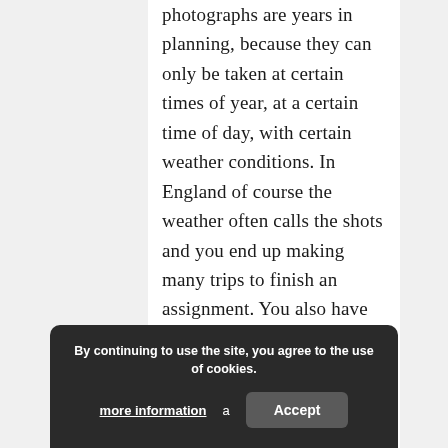photographs are years in planning, because they can only be taken at certain times of year, at a certain time of day, with certain weather conditions. In England of course the weather often calls the shots and you end up making many trips to finish an assignment. You also have to deal with the topography of the city and demands of clients. For example, the client wants an image showing the top of a cityscape with lines converging ... and where there is a neighbouring building affording you only 10
By continuing to use the site, you agree to the use of cookies. more information | Accept